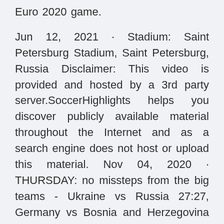Euro 2020 game.
Jun 12, 2021 · Stadium: Saint Petersburg Stadium, Saint Petersburg, Russia Disclaimer: This video is provided and hosted by a 3rd party server.SoccerHighlights helps you discover publicly available material throughout the Internet and as a search engine does not host or upload this material. Nov 04, 2020 · THURSDAY: no missteps from the big teams - Ukraine vs Russia 27:27, Germany vs Bosnia and Herzegovina 25:21, Sweden vs Romania 33:30, Denmark vs Switzerland 31:26; tell us in the poll which team you liked the best on Thursday; Hungary defeated Spain 32:29 in the EHF EURO Cup 2022 opener; round 2 of the qualifiers scheduled for Saturday and Sunday Nov 04, 2020 · Good morning, welcome back to round 1 of the Men's EHF EURO 2022 Qualifiers. Round 1 started with a packed schedule on